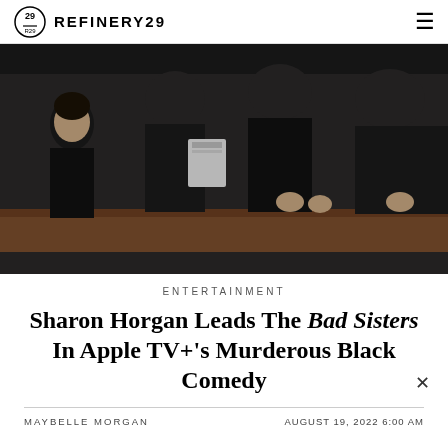REFINERY29
[Figure (photo): Group of women dressed in black standing in what appears to be a church or formal setting, one holding a pamphlet]
ENTERTAINMENT
Sharon Horgan Leads The Bad Sisters In Apple TV+'s Murderous Black Comedy
MAYBELLE MORGAN    AUGUST 19, 2022 6:00 AM